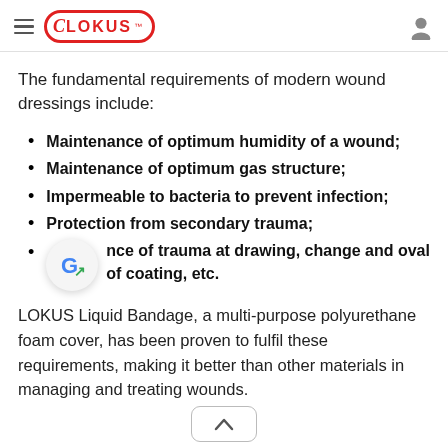LOKUS
The fundamental requirements of modern wound dressings include:
Maintenance of optimum humidity of a wound;
Maintenance of optimum gas structure;
Impermeable to bacteria to prevent infection;
Protection from secondary trauma;
Absence of trauma at drawing, change and removal of coating, etc.
LOKUS Liquid Bandage, a multi-purpose polyurethane foam cover, has been proven to fulfil these requirements, making it better than other materials in managing and treating wounds.